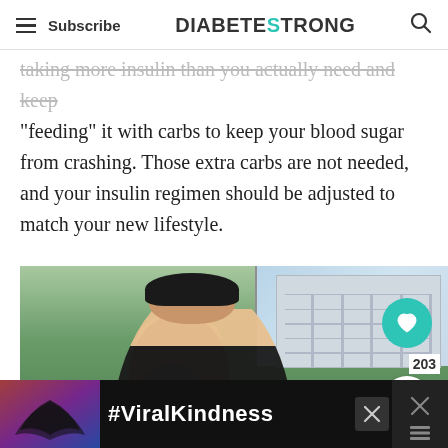Subscribe | DIABETESTRONG
...taking more insulin than you actually need and keep “feeding” it with carbs to keep your blood sugar from crashing. Those extra carbs are not needed, and your insulin regimen should be adjusted to match your new lifestyle.
[Figure (photo): Woman in black tank top looking down, outdoors with green plants and building in background. Interactive buttons on right side: teal heart button with 203 count, share button.]
[Figure (infographic): Advertisement bar at bottom with dark background showing hands forming heart shape and #ViralKindness text in white, with close buttons.]